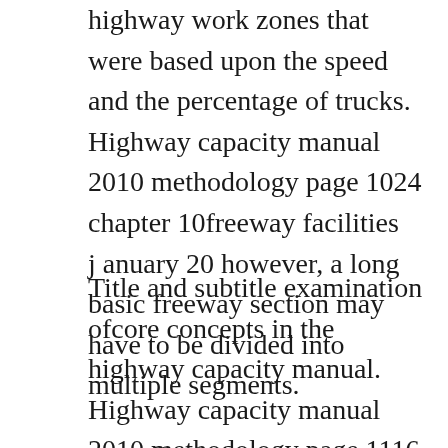highway work zones that were based upon the speed and the percentage of trucks. Highway capacity manual 2010 methodology page 1024 chapter 10freeway facilities j anuary 20 however, a long basic freeway section may have to be divided into multiple segments.
Title and subtitle examination ofcore concepts in the highway capacity manual. Highway capacity manual 2010 methodology page 1116 chapter 11basic freeway segments january 2012 the length of the grade is generally taken from a highway profile. Highway capacity manual an overview sciencedirect topics